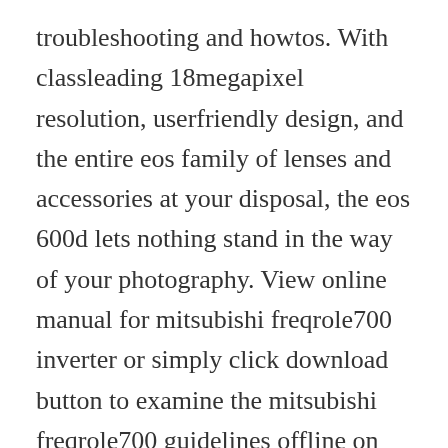troubleshooting and howtos. With classleading 18megapixel resolution, userfriendly design, and the entire eos family of lenses and accessories at your disposal, the eos 600d lets nothing stand in the way of your photography. View online manual for mitsubishi freqrole700 inverter or simply click download button to examine the mitsubishi freqrole700 guidelines offline on your desktop or laptop computer. Camera manuals and free digital camera pdf instructions. Apr 10, 2018 download acer